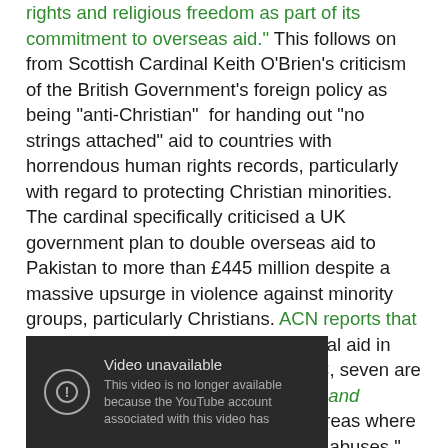rights and religious freedom as part of its commitment to overseas aid." This follows on from Scottish Cardinal Keith O'Brien's criticism of the British Government's foreign policy as being "anti-Christian" for handing out "no strings attached" aid to countries with horrendous human rights records, particularly with regard to protecting Christian minorities. The cardinal specifically criticised a UK government plan to double overseas aid to Pakistan to more than £445 million despite a massive upsurge in violence against minority groups, particularly Christians. ACN reports that "of the top 10 recipients of UK bilateral aid in 2009-10, as documented by the BBC, seven are countries featured in the Persecuted and Forgotten? report, which assesses areas where Christians suffer worst human rights' abuses."
[Figure (screenshot): Video unavailable message on dark background. Shows exclamation mark in circle icon with text: 'Video unavailable. This video is no longer available because the YouTube account associated with this video has']